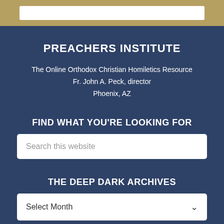PREACHERS INSTITUTE
The Online Orthodox Christian Homiletics Resource
Fr. John A. Peck, director
Phoenix, AZ
FIND WHAT YOU'RE LOOKING FOR
Search this website
THE DEEP DARK ARCHIVES
Select Month